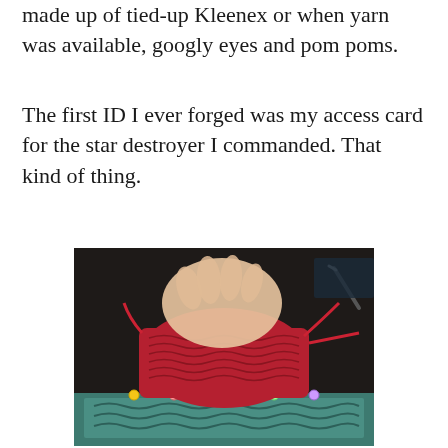made up of tied-up Kleenex or when yarn was available, googly eyes and pom poms.
The first ID I ever forged was my access card for the star destroyer I commanded. That kind of thing.
[Figure (photo): A hand holding a partially knitted red yarn project on a dark table surface, with a teal knitted piece visible below, connected by colorful stitch markers.]